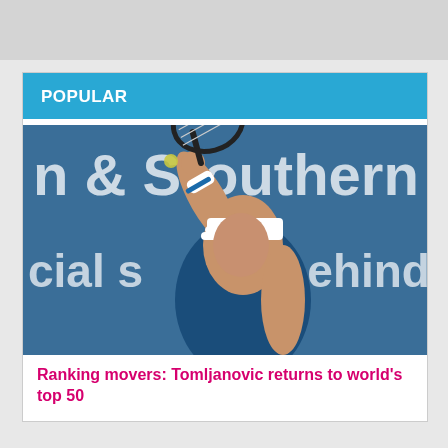POPULAR
[Figure (photo): Female tennis player in blue sleeveless top and white cap, mid-swing with racket raised, in front of a blue banner reading 'n & Souther' and 'cial s...th behind y']
Ranking movers: Tomljanovic returns to world's top 50